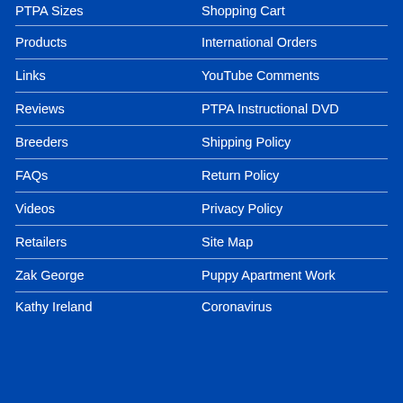PTPA Sizes
Shopping Cart
Products
International Orders
Links
YouTube Comments
Reviews
PTPA Instructional DVD
Breeders
Shipping Policy
FAQs
Return Policy
Videos
Privacy Policy
Retailers
Site Map
Zak George
Puppy Apartment Work
Kathy Ireland
Coronavirus